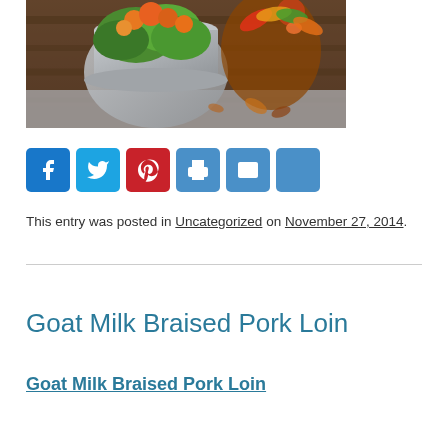[Figure (photo): Photo of orange flowers and green plants in a galvanized bucket with a colorful turkey decoration in the background, set on a wooden surface with fallen leaves]
[Figure (infographic): Social sharing buttons row: Facebook (blue), Twitter (blue), Pinterest (red), Print (blue), Email (blue), Share/Plus (blue)]
This entry was posted in Uncategorized on November 27, 2014.
Goat Milk Braised Pork Loin
Goat Milk Braised Pork Loin